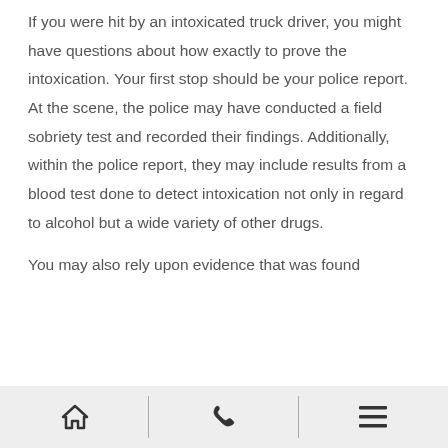If you were hit by an intoxicated truck driver, you might have questions about how exactly to prove the intoxication. Your first stop should be your police report. At the scene, the police may have conducted a field sobriety test and recorded their findings. Additionally, within the police report, they may include results from a blood test done to detect intoxication not only in regard to alcohol but a wide variety of other drugs.
You may also rely upon evidence that was found
home | phone | menu